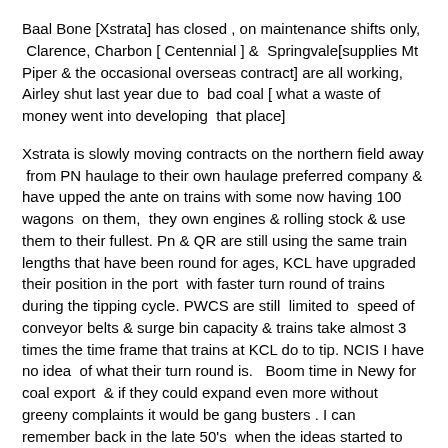Baal Bone [Xstrata] has closed , on maintenance shifts only, Clarence, Charbon [ Centennial ] &  Springvale[supplies Mt Piper & the occasional overseas contract] are all working, Airley shut last year due to  bad coal [ what a waste of money went into developing  that place]
Xstrata is slowly moving contracts on the northern field away  from PN haulage to their own haulage preferred company & have upped the ante on trains with some now having 100 wagons  on them,  they own engines & rolling stock & use them to their fullest. Pn & QR are still using the same train lengths that have been round for ages, KCL have upgraded their position in the port  with faster turn round of trains during the tipping cycle. PWCS are still  limited to  speed of conveyor belts & surge bin capacity & trains take almost 3 times the time frame that trains at KCL do to tip. NCIS I have no idea  of what their turn round is.   Boom time in Newy for coal export  & if they could expand even more without greeny complaints it would be gang busters . I can remember back in the late 50's  when the ideas started to come out about KCL that  then  they considered  that all of the northern